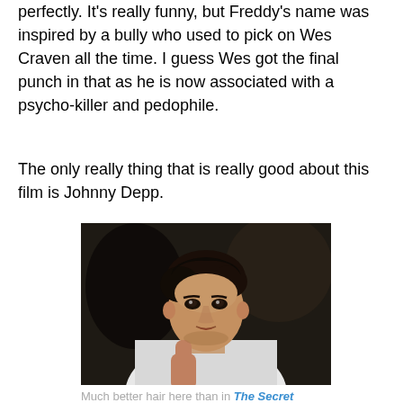perfectly. It's really funny, but Freddy's name was inspired by a bully who used to pick on Wes Craven all the time. I guess Wes got the final punch in that as he is now associated with a psycho-killer and pedophile.
The only really thing that is really good about this film is Johnny Depp.
[Figure (photo): Young Johnny Depp sitting with his chin resting on his hand, wearing a white shirt, looking slightly to the side. Dark, moody background.]
Much better hair here than in The Secret Window.